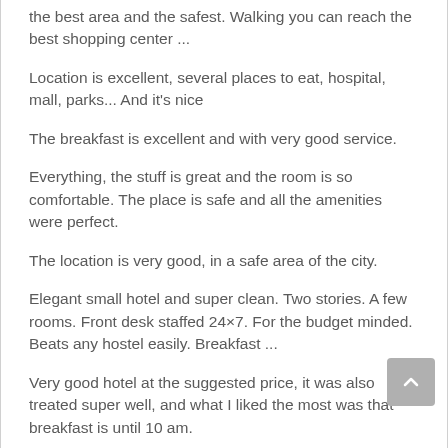the best area and the safest. Walking you can reach the best shopping center ...
Location is excellent, several places to eat, hospital, mall, parks... And it's nice
The breakfast is excellent and with very good service.
Everything, the stuff is great and the room is so comfortable. The place is safe and all the amenities were perfect.
The location is very good, in a safe area of the city.
Elegant small hotel and super clean. Two stories. A few rooms. Front desk staffed 24×7. For the budget minded. Beats any hostel easily. Breakfast ...
Very good hotel at the suggested price, it was also treated super well, and what I liked the most was that breakfast is until 10 am.
The attention of the staff who was very attentive to our